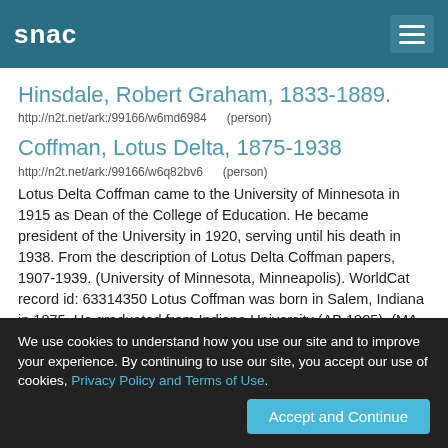snac
Hinsdale, Robert Graham, 1833-1889.
http://n2t.net/ark:/99166/w6md6984   (person)
Coffman, Lotus Delta, 1875-1938
http://n2t.net/ark:/99166/w6q82bv6   (person)
Lotus Delta Coffman came to the University of Minnesota in 1915 as Dean of the College of Education. He became president of the University in 1920, serving until his death in 1938. From the description of Lotus Delta Coffman papers, 1907-1939. (University of Minnesota, Minneapolis). WorldCat record id: 63314350 Lotus Coffman was born in Salem, Indiana in 1875. He graduated from Indiana University (AB 1905), (MA 1910) and Columbia University (Ph.D. 1911). He was a professor o...
We use cookies to understand how you use our site and to improve your experience. By continuing to use our site, you accept our use of cookies, Privacy Policy and Terms of Use.